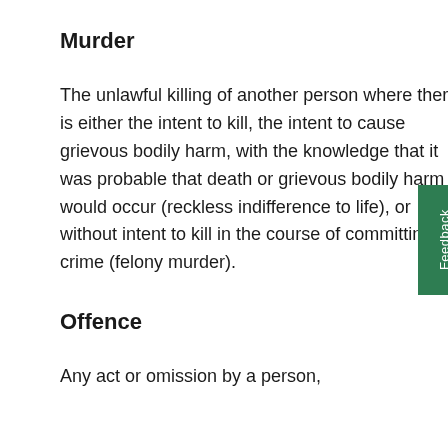Murder
The unlawful killing of another person where there is either the intent to kill, the intent to cause grievous bodily harm, with the knowledge that it was probable that death or grievous bodily harm would occur (reckless indifference to life), or without intent to kill in the course of committing a crime (felony murder).
Offence
Any act or omission by a person,